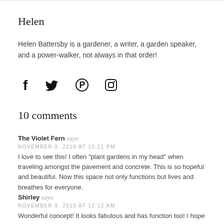Helen
Helen Battersby is a gardener, a writer, a garden speaker, and a power-walker, not always in that order!
[Figure (infographic): Social media icons: Facebook, Twitter, Pinterest, Instagram]
10 comments
The Violet Fern says:
NOVEMBER 8, 2010 AT 10:11 PM
I love to see this! I often "plant gardens in my head" when traveling amongst the pavement and concrete. This is so hopeful and beautiful. Now this space not only functions but lives and breathes for everyone.
Shirley says:
NOVEMBER 9, 2010 AT 12:12 AM
Wonderful concept! It looks fabulous and has function too! I hope your